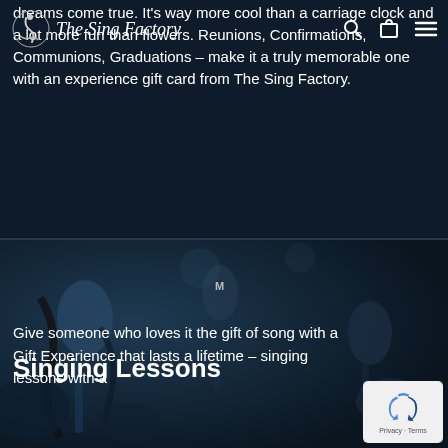The Sing Factory — navigation bar with logo, search, cart, and menu icons
dreams come true. It's way more cool than a carriage clock and a lot more fun than flowers. Reunions, Confirmations, Communions, Graduations – make it a truly memorable one with an experience gift card from The Sing Factory.
Singing Lessons
Give someone who loves it the gift of song with a Gift Experience that lasts a lifetime – singing lessons with a